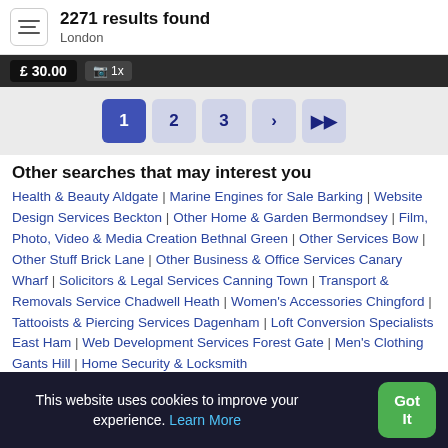2271 results found
London
£ 30.00  📷 1x
Pagination: 1 2 3 › ⏭
Other searches that may interest you
Health & Beauty Aldgate | Marine Engines for Sale Barking | Website Design Services Beckton | Other Home & Garden Bermondsey | Film, Photo, Video & Media Creation Bethnal Green | Other Services Bow | Other Stuff Brick Lane | Other Business & Office Services Canary Wharf | Solicitors & Legal Services Canning Town | Transport & Removals Service Chadwell Heath | Women's Accessories Chingford | Tattooists & Piercing Services Dagenham | Loft Conversion Specialists East Ham | Web Development Services Forest Gate | Men's Clothing Gants Hill | Home Security & Locksmith
This website uses cookies to improve your experience. Learn More  [Got It]